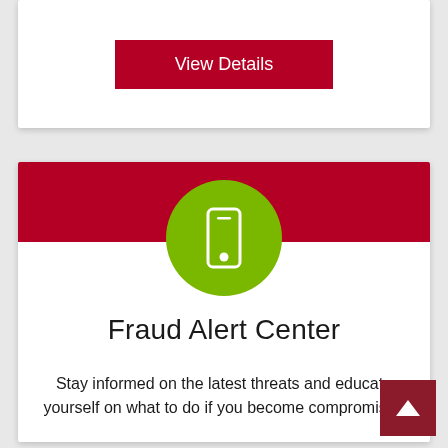View Details
[Figure (illustration): Green circle with a white smartphone/mobile phone icon, overlapping a dark red horizontal banner at the top of a white card]
Fraud Alert Center
Stay informed on the latest threats and educate yourself on what to do if you become compromised